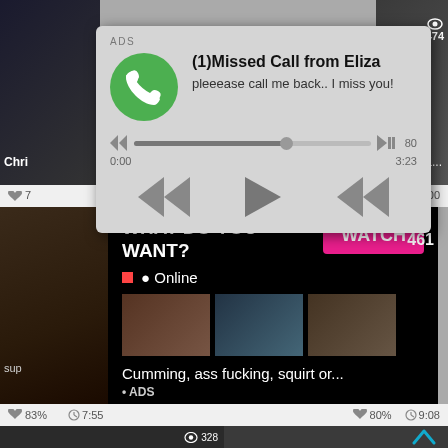[Figure (screenshot): Screenshot of an adult video website with popup ad notification showing a fake missed call from 'Eliza' with audio player controls (rewind, play, fast-forward), and a second ad overlay saying 'WHAT DO YOU WANT?' with a WATCH button, Online indicator, thumbnail images, and text 'Cumming, ass fucking, squirt or... • ADS'. Background shows adult video thumbnails with like percentages and durations. Bottom row shows two more thumbnails with view counts 328 and a chevron icon.]